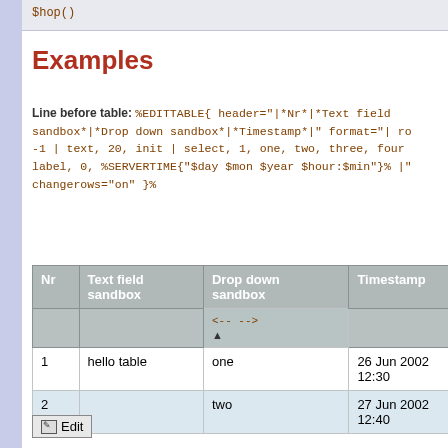$hop()
Examples
Line before table: %EDITTABLE{ header="|*Nr*|*Text field sandbox*|*Drop down sandbox*|*Timestamp*|" format="| ro -1 | text, 20, init | select, 1, one, two, three, four | label, 0, %SERVERTIME{"$day $mon $year $hour:$min"}% |" changerows="on" }%
| Nr | Text field sandbox | Drop down sandbox | Timestamp |
| --- | --- | --- | --- |
|  |  | <-- -->  ▲ |  |
| 1 | hello table | one | 26 Jun 2002 12:30 |
| 2 |  | two | 27 Jun 2002 12:40 |
Edit